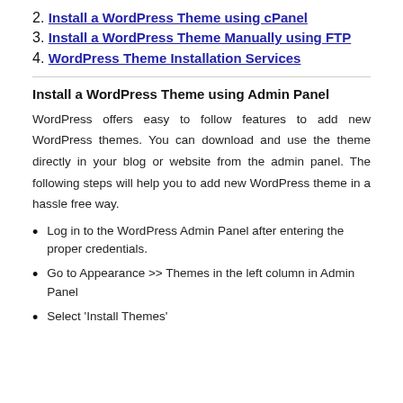2. Install a WordPress Theme using cPanel
3. Install a WordPress Theme Manually using FTP
4. WordPress Theme Installation Services
Install a WordPress Theme using Admin Panel
WordPress offers easy to follow features to add new WordPress themes. You can download and use the theme directly in your blog or website from the admin panel. The following steps will help you to add new WordPress theme in a hassle free way.
Log in to the WordPress Admin Panel after entering the proper credentials.
Go to Appearance >> Themes in the left column in Admin Panel
Select ‘Install Themes’